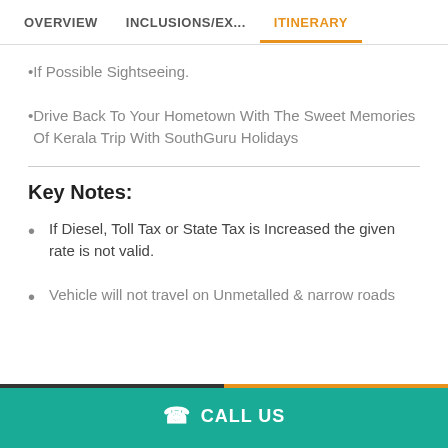OVERVIEW | INCLUSIONS/EX... | ITINERARY
If Possible Sightseeing.
Drive Back To Your Hometown With The Sweet Memories Of Kerala Trip With SouthGuru Holidays
Key Notes:
If Diesel, Toll Tax or State Tax is Increased the given rate is not valid.
Vehicle will not travel on Unmetalled & narrow roads
CALL US